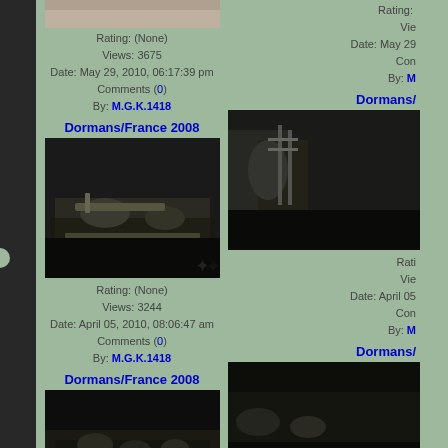[Figure (photo): Top portion of a WWI photo partially visible at top of left column]
Rating: (None)
Views: 3675
Date: May 29, 2010, 06:17:39 pm
Comments (0)
By: M.G.K.1418
Rating: (None)
Views: [truncated]
Date: May 29 [truncated]
Comments [truncated]
By: M [truncated]
Dormans/France 2008
Dormans/ [truncated]
[Figure (photo): Black and white WWI photo of soldiers with machine gun in trench, left column]
[Figure (photo): Black and white WWI photo of soldiers with machine gun in trench, right column (partial)]
Rating: (None)
Views: 3244
Date: April 05, 2010, 08:06:47 am
Comments (0)
By: M.G.K.1418
Rating: [truncated]
Views: [truncated]
Date: April 05 [truncated]
Comments [truncated]
By: M [truncated]
Dormans/France 2008
Dormans/ [truncated]
[Figure (photo): Black and white WWI photo of soldiers in trench with mortar, left column]
[Figure (photo): Black and white WWI photo of soldiers, right column (partial)]